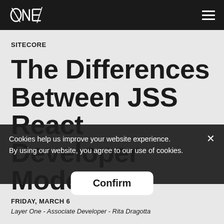ONE [logo] | navigation hamburger menu
SITECORE
The Differences Between JSS React Developer Modes
Cookies help us improve your website experience. By using our website, you agree to our use of cookies. [Confirm button] [X close]
FRIDAY, MARCH [date cut off]
Layer One - Associate Developer - Rita Dragotta